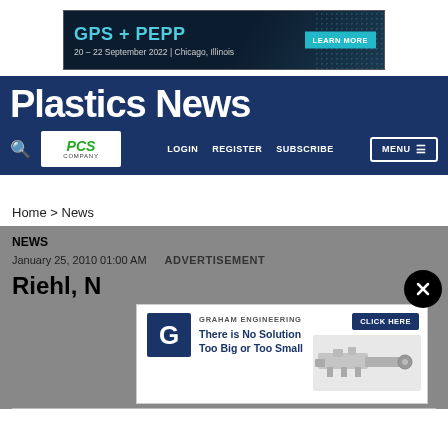[Figure (screenshot): GPS + PEPP banner advertisement: '20 – 22 September 2022 | Chicago, Illinois' with LEARN MORE button]
Plastics News
[Figure (logo): PCS Company logo in white box]
LOGIN   REGISTER   SUBSCRIBE   MENU
Home > News
NEWS
January 25, 2010 01:00 AM   ADVERTISEMENT
Riehl, N
[Figure (screenshot): Graham Engineering advertisement: 'There is No Solution Too Big or Too Small' with CLICK HERE button and machine photo]